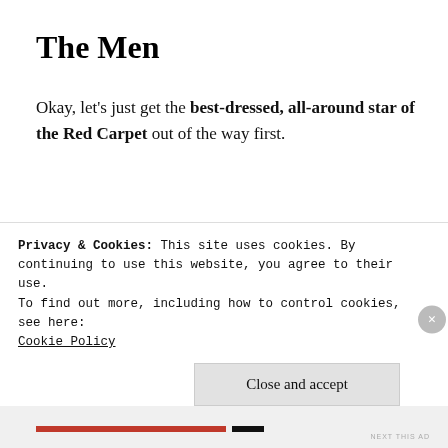The Men
Okay, let's just get the best-dressed, all-around star of the Red Carpet out of the way first.
[Figure (photo): Young boy in a tuxedo with bow tie giving thumbs up on the Oscars red carpet backdrop]
Privacy & Cookies: This site uses cookies. By continuing to use this website, you agree to their use.
To find out more, including how to control cookies, see here: Cookie Policy
Close and accept